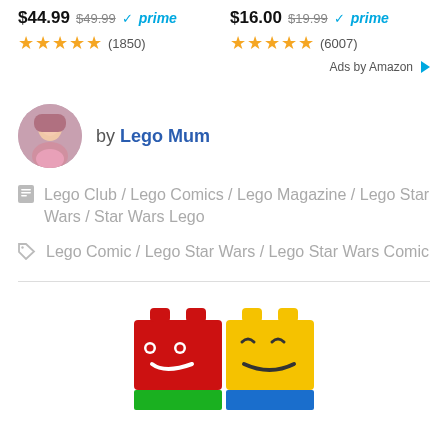$44.99  $49.99  ✓prime  ★★★★★ (1850)
$16.00  $19.99  ✓prime  ★★★★★ (6007)
Ads by Amazon ▷
by Lego Mum
Lego Club / Lego Comics / Lego Magazine / Lego Star Wars / Star Wars Lego
Lego Comic / Lego Star Wars / Lego Star Wars Comic
[Figure (logo): LEGO brand logo showing red and yellow Lego brick figures with smiley faces, and a green and blue base]